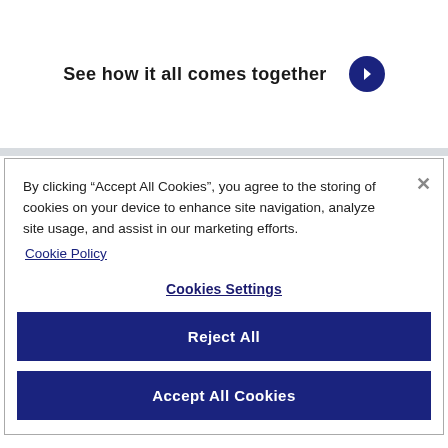See how it all comes together
By clicking “Accept All Cookies”, you agree to the storing of cookies on your device to enhance site navigation, analyze site usage, and assist in our marketing efforts.
Cookie Policy
Cookies Settings
Reject All
Accept All Cookies